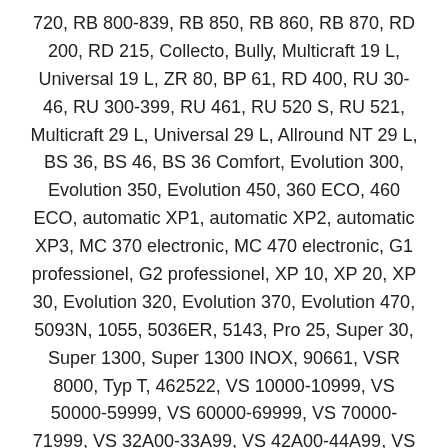720, RB 800-839, RB 850, RB 860, RB 870, RD 200, RD 215, Collecto, Bully, Multicraft 19 L, Universal 19 L, ZR 80, BP 61, RD 400, RU 30-46, RU 300-399, RU 461, RU 520 S, RU 521, Multicraft 29 L, Universal 29 L, Allround NT 29 L, BS 36, BS 46, BS 36 Comfort, Evolution 300, Evolution 350, Evolution 450, 360 ECO, 460 ECO, automatic XP1, automatic XP2, automatic XP3, MC 370 electronic, MC 470 electronic, G1 professionel, G2 professionel, XP 10, XP 20, XP 30, Evolution 320, Evolution 370, Evolution 470, 5093N, 1055, 5036ER, 5143, Pro 25, Super 30, Super 1300, Super 1300 INOX, 90661, VSR 8000, Typ T, 462522, VS 10000-10999, VS 50000-59999, VS 60000-69999, VS 70000-71999, VS 32A00-33A99, VS 42A00-44A99, VS 50A00-59A99, VS 60A00-62A99, VS 63A00-63A99, VS 63A01-63A06, VS 63A08-63A09, VS 70A00-